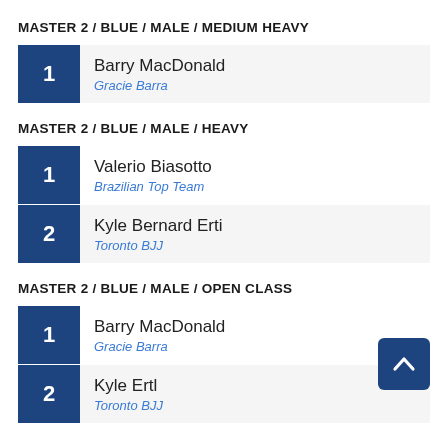MASTER 2 / BLUE / MALE / MEDIUM HEAVY
| Rank | Athlete | Team |
| --- | --- | --- |
| 1 | Barry MacDonald | Gracie Barra |
MASTER 2 / BLUE / MALE / HEAVY
| Rank | Athlete | Team |
| --- | --- | --- |
| 1 | Valerio Biasotto | Brazilian Top Team |
| 2 | Kyle Bernard Erti | Toronto BJJ |
MASTER 2 / BLUE / MALE / OPEN CLASS
| Rank | Athlete | Team |
| --- | --- | --- |
| 1 | Barry MacDonald | Gracie Barra |
| 2 | Kyle Ertl | Toronto BJJ |